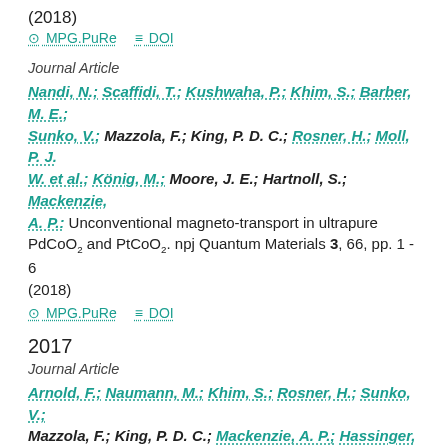(2018)
MPG.PuRe   DOI
Journal Article
Nandi, N.; Scaffidi, T.; Kushwaha, P.; Khim, S.; Barber, M. E.; Sunko, V.; Mazzola, F.; King, P. D. C.; Rosner, H.; Moll, P. J. W. et al.; König, M.; Moore, J. E.; Hartnoll, S.; Mackenzie, A. P.: Unconventional magneto-transport in ultrapure PdCoO2 and PtCoO2. npj Quantum Materials 3, 66, pp. 1 - 6 (2018)
MPG.PuRe   DOI
2017
Journal Article
Arnold, F.; Naumann, M.; Khim, S.; Rosner, H.; Sunko, V.; Mazzola, F.; King, P. D. C.; Mackenzie, A. P.; Hassinger, E.: Quasi-two-dimensional Fermi surface topography of the delafossite PdRhO2. Physical Review B 96, 075163, pp. 1